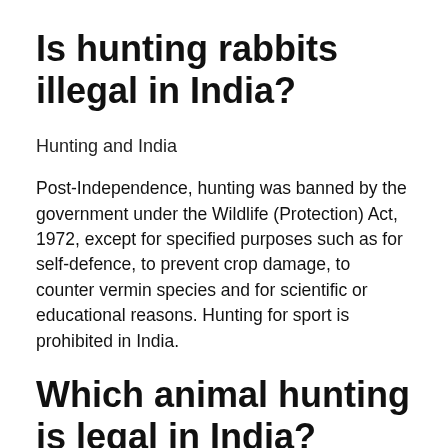Is hunting rabbits illegal in India?
Hunting and India
Post-Independence, hunting was banned by the government under the Wildlife (Protection) Act, 1972, except for specified purposes such as for self-defence, to prevent crop damage, to counter vermin species and for scientific or educational reasons. Hunting for sport is prohibited in India.
Which animal hunting is legal in India?
Animals under Schedule V, e.g. common